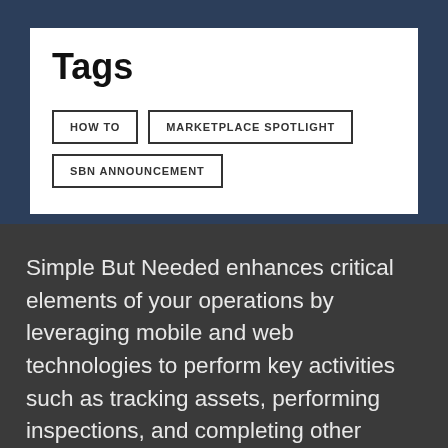Tags
HOW TO
MARKETPLACE SPOTLIGHT
SBN ANNOUNCEMENT
Simple But Needed enhances critical elements of your operations by leveraging mobile and web technologies to perform key activities such as tracking assets, performing inspections, and completing other safety and compliance requirements. Our solutions